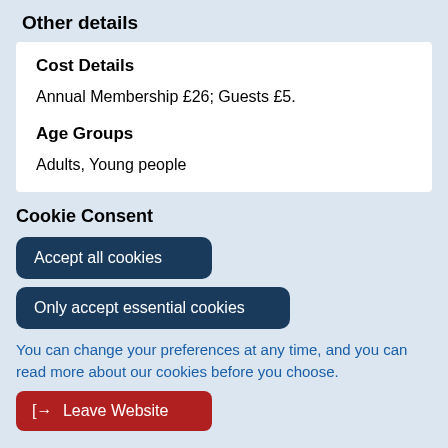Other details
Cost Details
Annual Membership £26; Guests £5.
Age Groups
Adults, Young people
Cookie Consent
Accept all cookies
Only accept essential cookies
You can change your preferences at any time, and you can read more about our cookies before you choose.
Leave Website